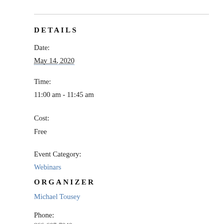DETAILS
Date:
May 14, 2020
Time:
11:00 am - 11:45 am
Cost:
Free
Event Category:
Webinars
ORGANIZER
Michael Tousey
Phone:
866-607-7040